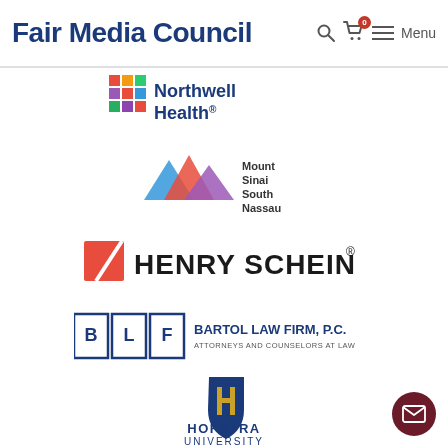Fair Media Council — Menu navigation
[Figure (logo): Northwell Health logo with colorful grid squares and blue text]
[Figure (logo): Mount Sinai South Nassau logo with colorful mountain peaks]
[Figure (logo): Henry Schein logo with red diagonal square and bold text]
[Figure (logo): Bartol Law Firm P.C. logo with blue BLF monogram boxes]
[Figure (logo): Hofstra University logo with gold H shield and blue text]